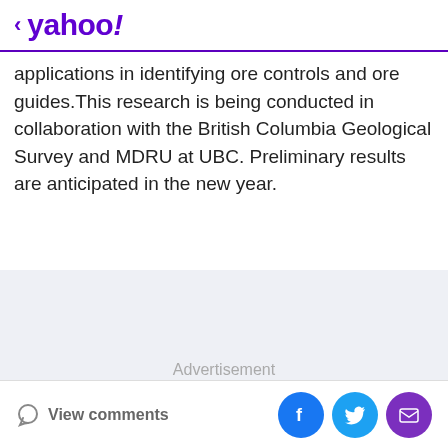< yahoo!
applications in identifying ore controls and ore guides.This research is being conducted in collaboration with the British Columbia Geological Survey and MDRU at UBC. Preliminary results are anticipated in the new year.
[Figure (other): Advertisement placeholder area with light gray background]
View comments | Facebook | Twitter | Mail social share buttons